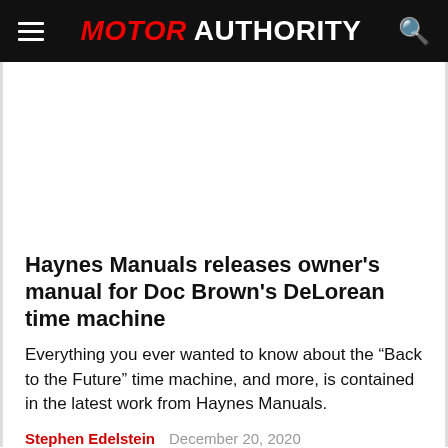MOTOR AUTHORITY
[Figure (photo): Large image placeholder area for article hero image]
Haynes Manuals releases owner's manual for Doc Brown's DeLorean time machine
Everything you ever wanted to know about the “Back to the Future” time machine, and more, is contained in the latest work from Haynes Manuals.
Stephen Edelstein   December 20, 2020